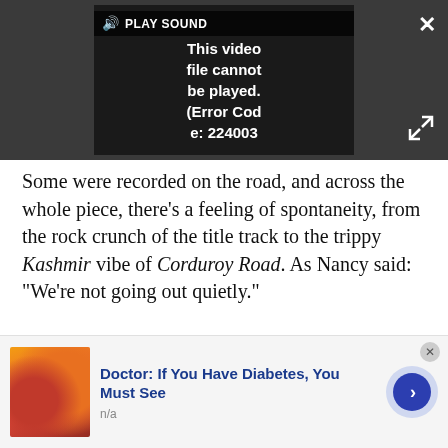[Figure (screenshot): Video player showing error message: 'This video file cannot be played. (Error Code: 224003)' with a PLAY SOUND button at top left, close X button top right, and expand icon bottom right, all on dark background.]
Some were recorded on the road, and across the whole piece, there's a feeling of spontaneity, from the rock crunch of the title track to the trippy Kashmir vibe of Corduroy Road. As Nancy said: “We’re not going out quietly.”
VIEW DEAL
Magazine (1978)
[Figure (photo): Advertisement image showing orange and red food items (possibly candy or fruit slices), with text 'Doctor: If You Have Diabetes, You Must See' and source 'n/a', with a blue arrow button.]